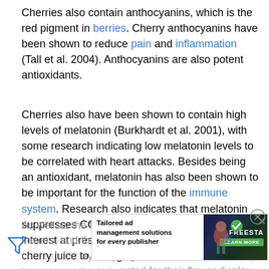Cherries also contain anthocyanins, which is the red pigment in berries. Cherry anthocyanins have been shown to reduce pain and inflammation (Tall et al. 2004). Anthocyanins are also potent antioxidants.
Cherries also have been shown to contain high levels of melatonin (Burkhardt et al. 2001), with some research indicating low melatonin levels to be correlated with heart attacks. Besides being an antioxidant, melatonin has also been shown to be important for the function of the immune system. Research also indicates that melatonin suppresses COX-2. There is considerable interest at present in the use of fresh cherries or cherry juice to treat gout.
As well as the fruit, cherries also have attractive flowers, and they provide one of the first reliable outdoor displays in spring. Some ornamental cherry trees are particularly noted for their flower display. The Japanese sakura in particular are renowned symbols of nature that is the...
[Figure (other): Advertisement banner: Tailored ad management solutions for every publisher. Freesta logo with Learn More button and decorative background with illustrated figures.]